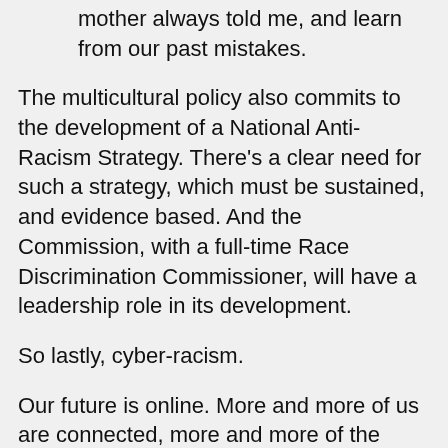welcomes new communities we don't follow what my mother always told me, and learn from our past mistakes.
The multicultural policy also commits to the development of a National Anti-Racism Strategy. There's a clear need for such a strategy, which must be sustained, and evidence based. And the Commission, with a full-time Race Discrimination Commissioner, will have a leadership role in its development.
So lastly, cyber-racism.
Our future is online. More and more of us are connected, more and more of the time. Some of you are probably tweeting about me as I speak- and if you are, follow me at graemeinnes. My daughter at high school does her homework with the help of Dr Google, while she's on Facebook and texting.